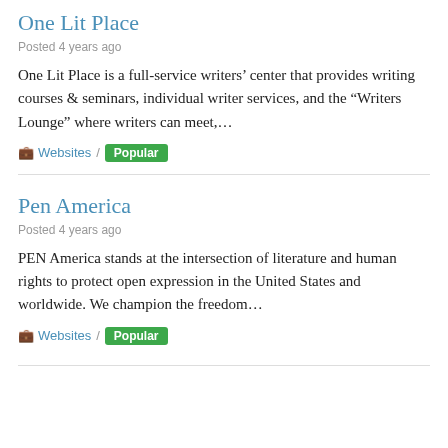One Lit Place
Posted 4 years ago
One Lit Place is a full-service writers’ center that provides writing courses & seminars, individual writer services, and the “Writers Lounge” where writers can meet,...
Websites / Popular
Pen America
Posted 4 years ago
PEN America stands at the intersection of literature and human rights to protect open expression in the United States and worldwide. We champion the freedom...
Websites / Popular